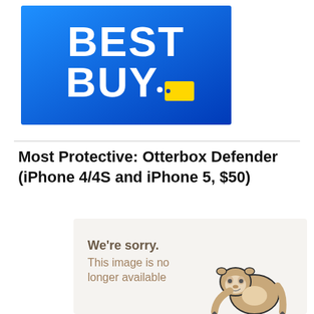[Figure (logo): Best Buy logo — white bold text BEST BUY with a yellow price-tag icon on a blue gradient background]
Most Protective: Otterbox Defender (iPhone 4/4S and iPhone 5, $50)
[Figure (illustration): Broken image placeholder with a sloth cartoon and text: We're sorry. This image is no longer available]